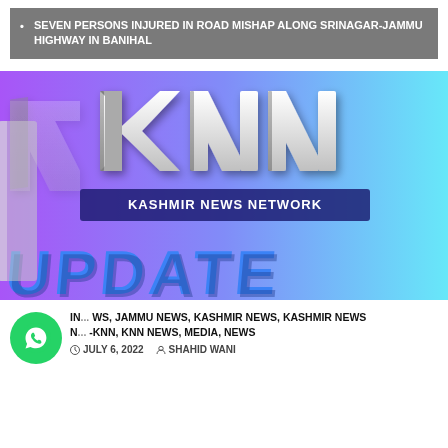SEVEN PERSONS INJURED IN ROAD MISHAP ALONG SRINAGAR-JAMMU HIGHWAY IN BANIHAL
[Figure (logo): KNN Kashmir News Network Update logo — 3D white letters KNN on gradient purple-to-cyan background with blue UPDATE text in foreground]
IN... WS, JAMMU NEWS, KASHMIR NEWS, KASHMIR NEWS N... -KNN, KNN NEWS, MEDIA, NEWS
ASIDE  JULY 6, 2022  SHAHID WANI